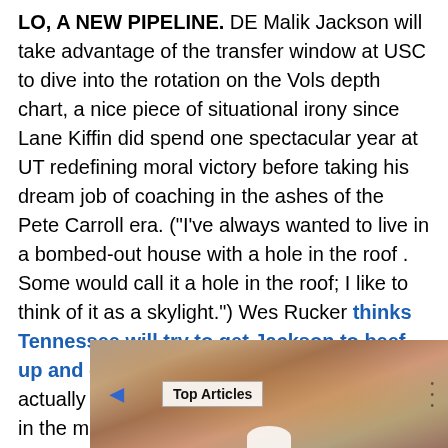LO, A NEW PIPELINE. DE Malik Jackson will take advantage of the transfer window at USC to dive into the rotation on the Vols depth chart, a nice piece of situational irony since Lane Kiffin did spend one spectacular year at UT redefining moral victory before taking his dream job of coaching in the ashes of the Pete Carroll era. ("I've always wanted to live in a bombed-out house with a hole in the roof . Some would call it a hole in the roof; I like to think of it as a skylight.") Wes Rucker thinks Tennessee will try to get Jackson to beef up and go defensive tackle, since they actually have DEs and badly need some beef in the middle.
[Figure (photo): Video thumbnail showing a crowd scene with a 'Top Articles' badge overlay, navigation arrows, and a play button at the bottom.]